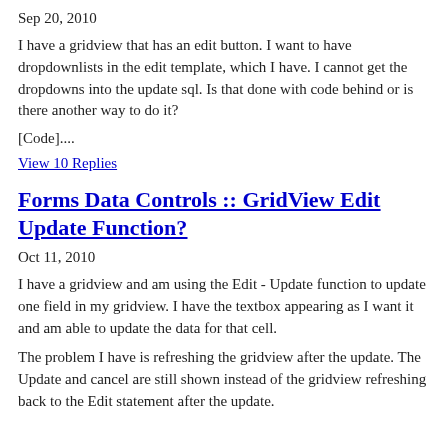Sep 20, 2010
I have a gridview that has an edit button. I want to have dropdownlists in the edit template, which I have. I cannot get the dropdowns into the update sql. Is that done with code behind or is there another way to do it?
[Code]....
View 10 Replies
Forms Data Controls :: GridView Edit Update Function?
Oct 11, 2010
I have a gridview and am using the Edit - Update function to update one field in my gridview. I have the textbox appearing as I want it and am able to update the data for that cell.
The problem I have is refreshing the gridview after the update. The Update and cancel are still shown instead of the gridview refreshing back to the Edit statement after the update.